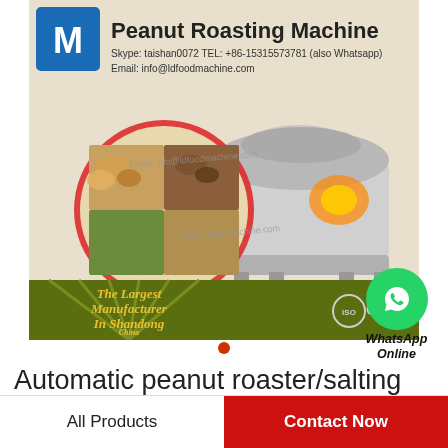[Figure (photo): Peanut Roasting Machine product banner image. Shows a stainless steel roasting machine with a circular inset of various nuts and seeds. Header text: 'Peanut Roasting Machine', Skype: taishan0072, TEL: +86-15315573781 (also Whatsapp), Email: info@ldfoodmachine.com. Bottom text on dark olive background: 'The Largest Manufacturer In Shandong China'. ISO and CE certification logos shown. Watermark: Email: info@ldfoodmachine.com repeated.]
[Figure (illustration): Green WhatsApp circle icon with phone handset, and text 'WhatsApp Online' in bold italic to the right side]
Automatic peanut roaster/salting roasting sunflower seeds/sweet potato roasting machine
All Products
Contact Now